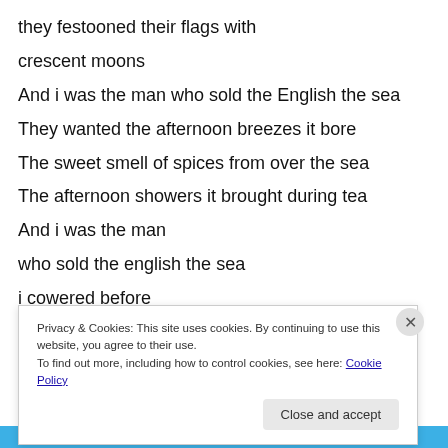they festooned their flags with
crescent moons
And i was the man who sold the English the sea
They wanted the afternoon breezes it bore
The sweet smell of spices from over the sea
The afternoon showers it brought during tea
And i was the man
who sold the english the sea
i cowered before
grey battleship guns
And i was ti...
Privacy & Cookies: This site uses cookies. By continuing to use this website, you agree to their use.
To find out more, including how to control cookies, see here: Cookie Policy
Close and accept